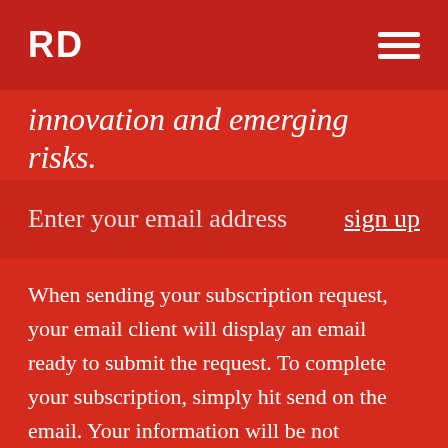RD
innovation and emerging risks.
Enter your email address   sign up
When sending your subscription request, your email client will display an email ready to submit the request. To complete your subscription, simply hit send on the email. Your information will be not registered on this website, and will be used solely for the purpose of processing your subscription.